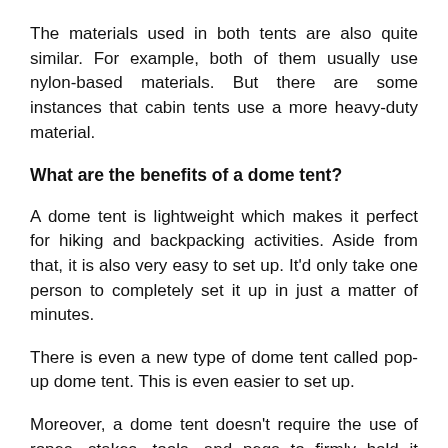The materials used in both tents are also quite similar. For example, both of them usually use nylon-based materials. But there are some instances that cabin tents use a more heavy-duty material.
What are the benefits of a dome tent?
A dome tent is lightweight which makes it perfect for hiking and backpacking activities. Aside from that, it is also very easy to set up. It’d only take one person to completely set it up in just a matter of minutes.
There is even a new type of dome tent called pop-up dome tent. This is even easier to set up.
Moreover, a dome tent doesn’t require the use of ropes, stakes, tools, and pegs to firmly hold it down. The lack of those was compensated by the crisscrossing poles that